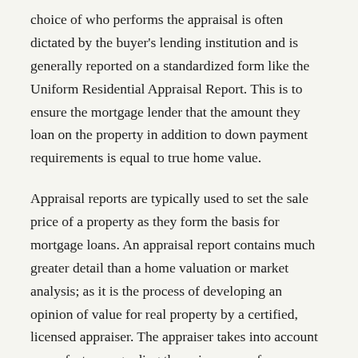choice of who performs the appraisal is often dictated by the buyer's lending institution and is generally reported on a standardized form like the Uniform Residential Appraisal Report. This is to ensure the mortgage lender that the amount they loan on the property in addition to down payment requirements is equal to true home value.
Appraisal reports are typically used to set the sale price of a property as they form the basis for mortgage loans. An appraisal report contains much greater detail than a home valuation or market analysis; as it is the process of developing an opinion of value for real property by a certified, licensed appraiser. The appraiser takes into account many factors regarding the uniqueness of your home, its location as well as the cause of the sale.